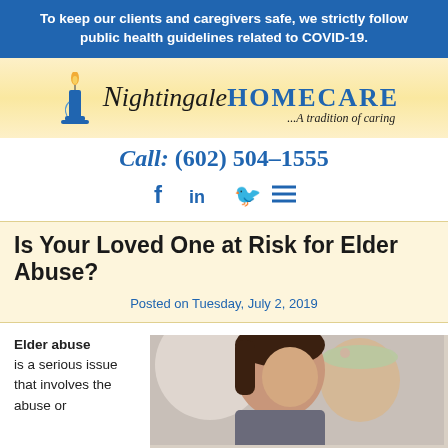To keep our clients and caregivers safe, we strictly follow public health guidelines related to COVID-19.
[Figure (logo): Nightingale Homecare logo with candle icon and tagline '...A tradition of caring']
Call: (602) 504-1555
[Figure (infographic): Social media icons: Facebook, LinkedIn, Twitter, and menu icon in blue]
Is Your Loved One at Risk for Elder Abuse?
Posted on Tuesday, July 2, 2019
Elder abuse is a serious issue that involves the abuse or
[Figure (photo): Photo of a caregiver woman with dark hair leaning close to an elderly patient wearing a floral headband]